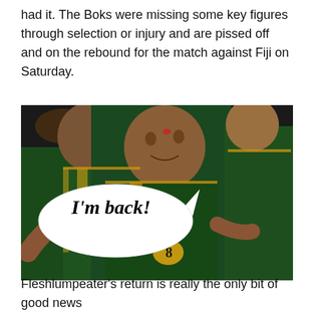had it. The Boks were missing some key figures through selection or injury and are pissed off and on the rebound for the match against Fiji on Saturday.
[Figure (photo): South African rugby players in green jerseys celebrating, with a speech bubble overlay saying "I'm back!"]
Fleshlumpeater's return is really the only bit of good news